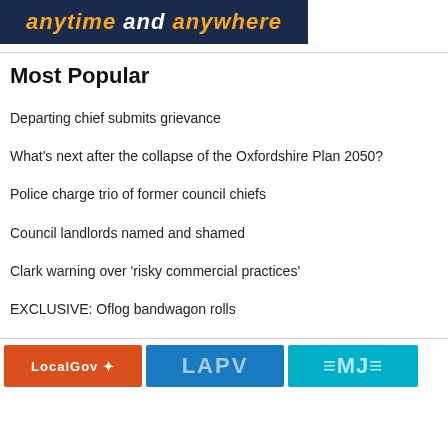[Figure (illustration): Dark navy banner with italic bold text reading 'anytime and anywhere' in orange and white]
Most Popular
Departing chief submits grievance
What's next after the collapse of the Oxfordshire Plan 2050?
Police charge trio of former council chiefs
Council landlords named and shamed
Clark warning over 'risky commercial practices'
EXCLUSIVE: Oflog bandwagon rolls
[Figure (logo): Three logos at the bottom: LocalGov (orange), LAPV (blue), and MJ (teal/cyan)]